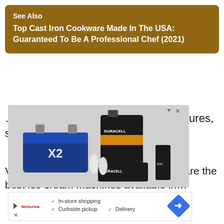See Also
Top Cast Iron Cookware Made In The USA: Guaranteed To Be A Professional Chef (2021)
…the information about the price, features, specifications and reviews.
VEVOR Commercial Ice Cream Makerare the best ice cream machines available in…
[Figure (photo): Advertisement banner showing Duracell batteries of various sizes stacked together]
[Figure (infographic): Advertisement for in-store shopping with checkmarks: In-store shopping, Curbside pickup, Delivery; blue diamond arrow icon on right]